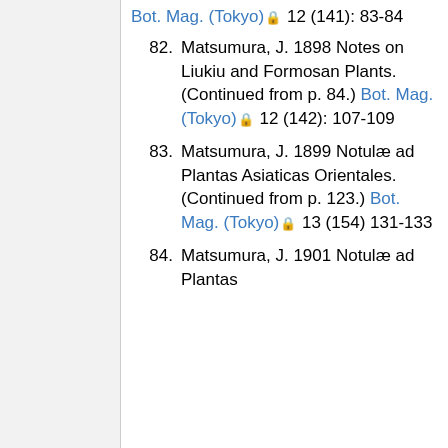Bot. Mag. (Tokyo) 🔒 12 (141): 83-84
82. Matsumura, J. 1898 Notes on Liukiu and Formosan Plants. (Continued from p. 84.) Bot. Mag. (Tokyo) 🔒 12 (142): 107-109
83. Matsumura, J. 1899 Notulæ ad Plantas Asiaticas Orientales. (Continued from p. 123.) Bot. Mag. (Tokyo) 🔒 13 (154) 131-133
84. Matsumura, J. 1901 Notulæ ad Plantas